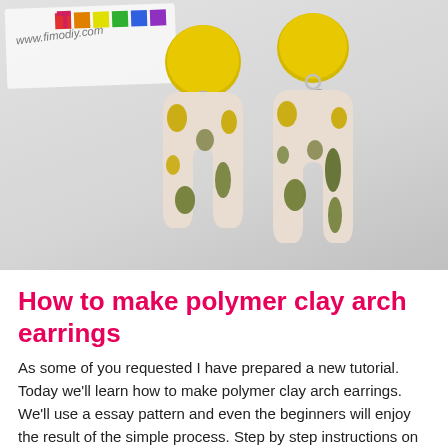[Figure (photo): Photograph of two polymer clay arch earrings with beige/cream base and yellow and olive green spots/patches, hanging from yellow circular clay tops with silver jump rings. Background shows a fimodiy.com logo card.]
How to make polymer clay arch earrings
As some of you requested I have prepared a new tutorial. Today we'll learn how to make polymer clay arch earrings. We'll use a essay pattern and even the beginners will enjoy the result of the simple process. Step by step instructions on how to make polymer clay arch earrings Tools for making the earrings – more